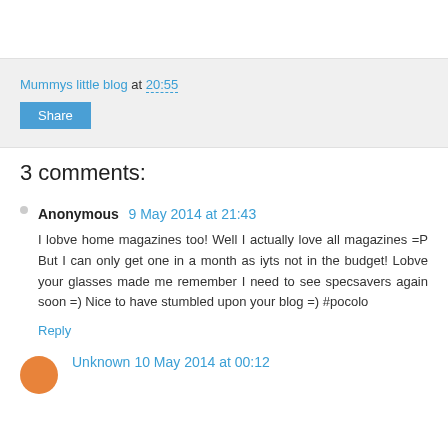Mummys little blog at 20:55
Share
3 comments:
Anonymous 9 May 2014 at 21:43
I lobve home magazines too! Well I actually love all magazines =P But I can only get one in a month as iyts not in the budget! Lobve your glasses made me remember I need to see specsavers again soon =) Nice to have stumbled upon your blog =) #pocolo
Reply
Unknown 10 May 2014 at 00:12